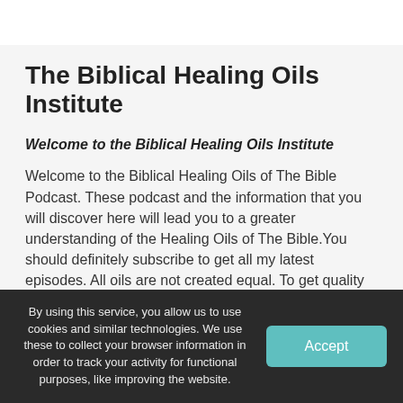The Biblical Healing Oils Institute
Welcome to the Biblical Healing Oils Institute
Welcome to the Biblical Healing Oils of The Bible Podcast. These podcast and the information that you will discover here will lead you to a greater understanding of the Healing Oils of The Bible.You should definitely subscribe to get all my latest episodes. All oils are not created equal. To get quality results you must use quality oils. You need quality oils from a company with a proven track record. Are you interested in Free Essential Oil Training? Al...
By using this service, you allow us to use cookies and similar technologies. We use these to collect your browser information in order to track your activity for functional purposes, like improving the website.